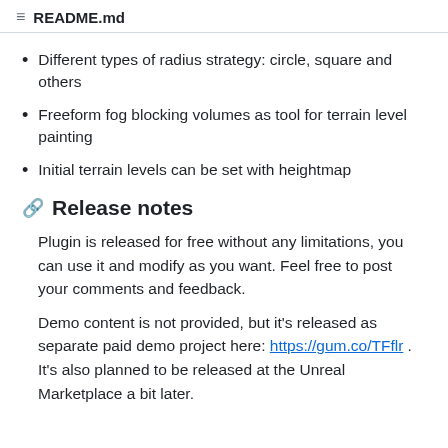README.md
Different types of radius strategy: circle, square and others
Freeform fog blocking volumes as tool for terrain level painting
Initial terrain levels can be set with heightmap
Release notes
Plugin is released for free without any limitations, you can use it and modify as you want. Feel free to post your comments and feedback.
Demo content is not provided, but it's released as separate paid demo project here: https://gum.co/TFflr . It's also planned to be released at the Unreal Marketplace a bit later.